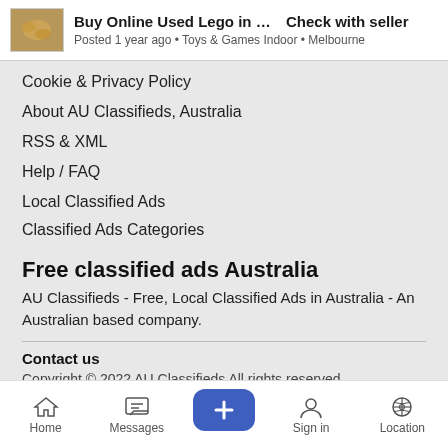Buy Online Used Lego in Mel...   Check with seller
Posted 1 year ago • Toys & Games Indoor • Melbourne
Cookie & Privacy Policy
About AU Classifieds, Australia
RSS & XML
Help / FAQ
Local Classified Ads
Classified Ads Categories
Free classified ads Australia
AU Classifieds - Free, Local Classified Ads in Australia - An Australian based company.
Contact us
Copyright © 2022 AU Classifieds All rights reserved.